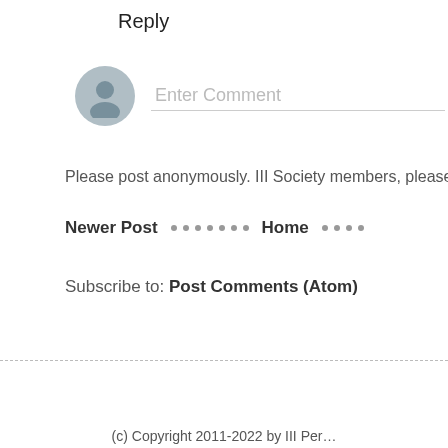Reply
[Figure (illustration): Gray circular avatar icon with a user silhouette, next to an 'Enter Comment' placeholder text input field with a bottom border line]
Please post anonymously. III Society members, please
Newer Post · · · · · · · Home · · · ·
Subscribe to: Post Comments (Atom)
(c) Copyright 2011-2022 by III Per…